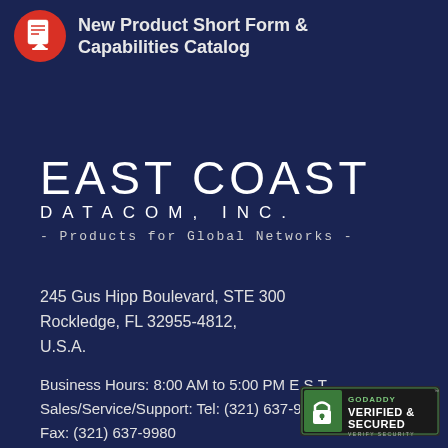[Figure (logo): Red circular icon with white PDF document symbol and download arrow]
New Product Short Form & Capabilities Catalog
[Figure (logo): East Coast Datacom, Inc. company logo in white text on dark navy background, with tagline '- Products for Global Networks -']
245 Gus Hipp Boulevard, STE 300
Rockledge, FL 32955-4812,
U.S.A.
Business Hours: 8:00 AM to 5:00 PM E.S.T.
Sales/Service/Support: Tel: (321) 637-9922
Fax: (321) 637-9980
Email: info(at)ecdata.com
[Figure (logo): GoDaddy Verified & Secured badge in bottom right corner]